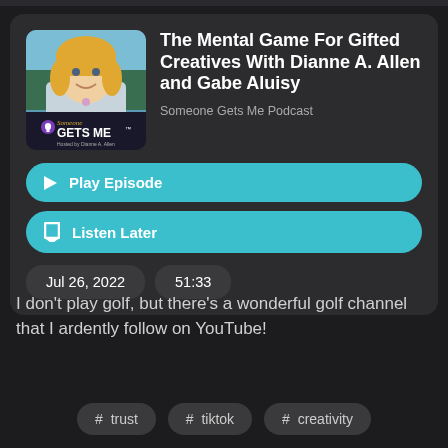[Figure (photo): Podcast artwork for 'Someone Gets Me' hosted by Dianne A. Allen, showing a blonde woman smiling outdoors with the podcast logo]
The Mental Game For Gifted Creatives With Dianne A. Allen and Gabe Aluisy
Someone Gets Me Podcast
▶ Play Episode
🔖 Listen Later
Jul 26, 2022
51:33
I don't play golf, but there's a wonderful golf channel that I ardently follow on YouTube!
# trust
# tiktok
# creativity